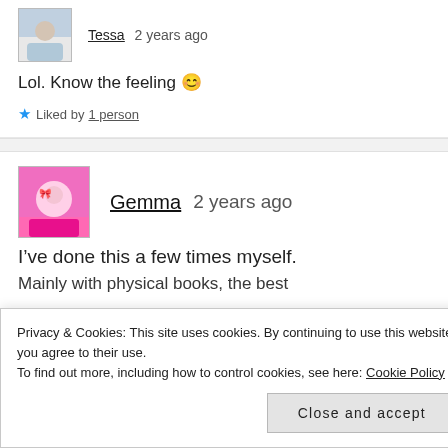Tessa   2 years ago
Lol. Know the feeling 😊
★ Liked by 1 person
Gemma   2 years ago
I've done this a few times myself.
Mainly with physical books, the best
Privacy & Cookies: This site uses cookies. By continuing to use this website, you agree to their use. To find out more, including how to control cookies, see here: Cookie Policy
Close and accept